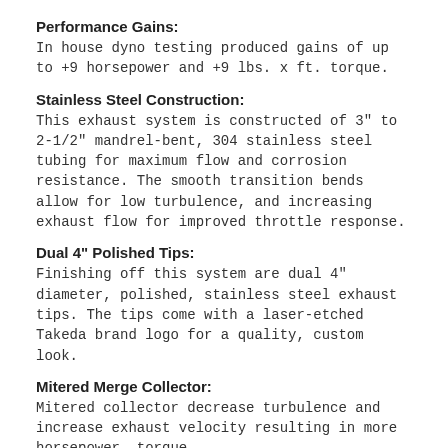Performance Gains:
In house dyno testing produced gains of up to +9 horsepower and +9 lbs. x ft. torque.
Stainless Steel Construction:
This exhaust system is constructed of 3" to 2-1/2" mandrel-bent, 304 stainless steel tubing for maximum flow and corrosion resistance. The smooth transition bends allow for low turbulence, and increasing exhaust flow for improved throttle response.
Dual 4" Polished Tips:
Finishing off this system are dual 4" diameter, polished, stainless steel exhaust tips. The tips come with a laser-etched Takeda brand logo for a quality, custom look.
Mitered Merge Collector:
Mitered collector decrease turbulence and increase exhaust velocity resulting in more horsepower, torque